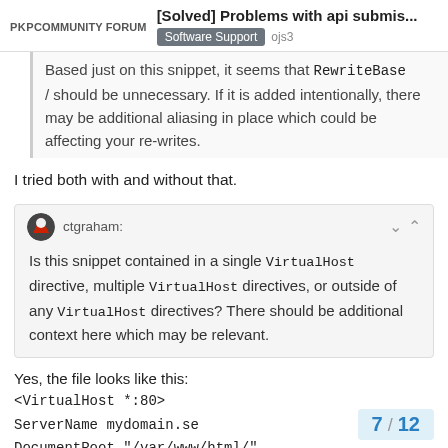PKP COMMUNITY FORUM | [Solved] Problems with api submis... | Software Support | ojs3
Based just on this snippet, it seems that RewriteBase / should be unnecessary. If it is added intentionally, there may be additional aliasing in place which could be affecting your re-writes.
I tried both with and without that.
ctgraham: Is this snippet contained in a single VirtualHost directive, multiple VirtualHost directives, or outside of any VirtualHost directives? There should be additional context here which may be relevant.
Yes, the file looks like this:
<VirtualHost *:80>
ServerName mydomain.se
DocumentRoot "/var/www/html/"
...snippet above...